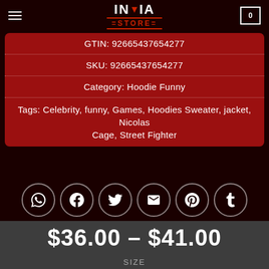[Figure (logo): INVIA STORE logo with red heart and double-line decoration on dark background]
| GTIN: 92665437654277 |
| SKU: 92665437654277 |
| Category: Hoodie Funny |
| Tags: Celebrity, funny, Games, Hoodies Sweater, jacket, Nicolas Cage, Street Fighter |
[Figure (infographic): Row of 6 social sharing icons in circular borders: WhatsApp, Facebook, Twitter, Email, Pinterest, Tumblr]
$36.00 – $41.00
SIZE